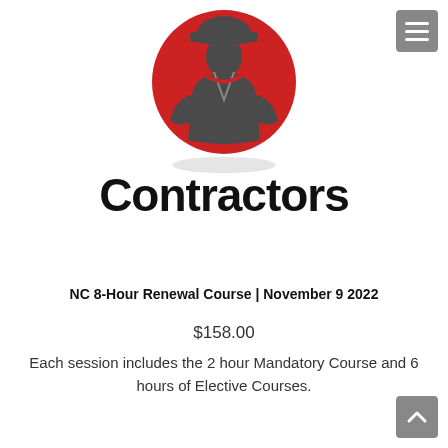[Figure (illustration): Icon of a contractor/worker wearing a hard hat, shown as a silhouette in dark gray on a red circle background, with a shadow beneath]
Contractors
NC 8-Hour Renewal Course | November 9 2022
$158.00
Each session includes the 2 hour Mandatory Course and 6 hours of Elective Courses.